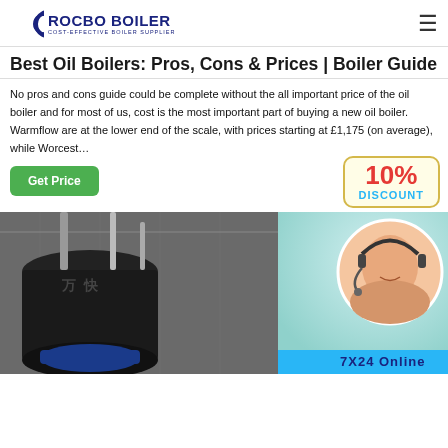ROCBO BOILER — COST-EFFECTIVE BOILER SUPPLIER
Best Oil Boilers: Pros, Cons & Prices | Boiler Guide
No pros and cons guide could be complete without the all important price of the oil boiler and for most of us, cost is the most important part of buying a new oil boiler. Warmflow are at the lower end of the scale, with prices starting at £1,175 (on average), while Worcest…
[Figure (other): Green 'Get Price' call-to-action button]
[Figure (infographic): 10% DISCOUNT badge in red and cyan text on cream/yellow background]
[Figure (photo): Industrial boiler factory interior with large blue/dark boiler units; customer service agent with headset on the right side with '7X24 Online' text bar]